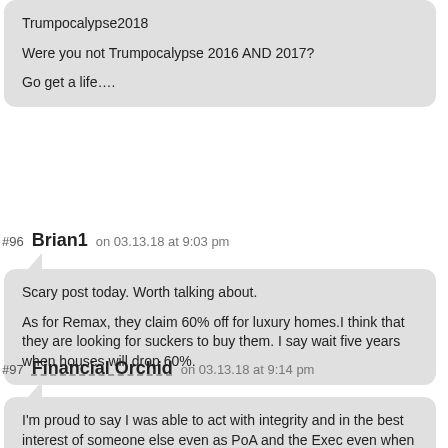Trumpocalypse2018

Were you not Trumpocalypse 2016 AND 2017?

Go get a life….
#96 Brian1 on 03.13.18 at 9:03 pm
Scary post today. Worth talking about.

As for Remax, they claim 60% off for luxury homes.I think that they are looking for suckers to buy them. I say wait five years when houses will drop 60%.
#97 Financial Orchid on 03.13.18 at 9:14 pm
I'm proud to say I was able to act with integrity and in the best interest of someone else even as PoA and the Exec even when I didn't understand the role fully when I agreed. The most we can do is be there for the other person until the end and to honor their wishes to the best of one's ability.